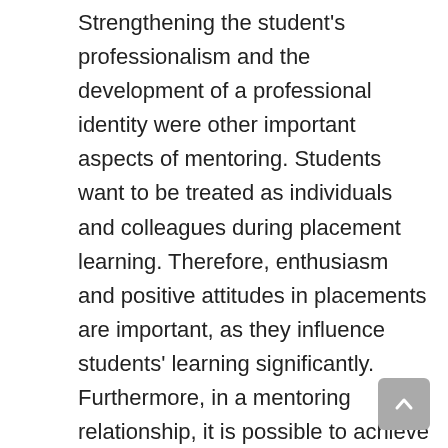Strengthening the student's professionalism and the development of a professional identity were other important aspects of mentoring. Students want to be treated as individuals and colleagues during placement learning. Therefore, enthusiasm and positive attitudes in placements are important, as they influence students' learning significantly. Furthermore, in a mentoring relationship, it is possible to achieve a level of collegiality with students. Friendship was also included in mentoring, but it seldom happened in practice. On the other hand, current nursing education values the student's independence and self-direction in learning, which puts the responsibility on students to be active in the mentoring relationship.
However, it is significant that mentors motivate students to learn nursing in placements and act as